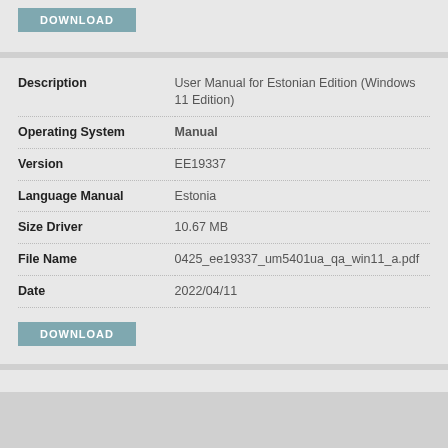[Figure (other): DOWNLOAD button in teal/blue-grey color at top of page]
| Field | Value |
| --- | --- |
| Description | User Manual for Estonian Edition (Windows 11 Edition) |
| Operating System | Manual |
| Version | EE19337 |
| Language Manual | Estonia |
| Size Driver | 10.67 MB |
| File Name | 0425_ee19337_um5401ua_qa_win11_a.pdf |
| Date | 2022/04/11 |
[Figure (other): DOWNLOAD button in teal/blue-grey color at bottom of card]